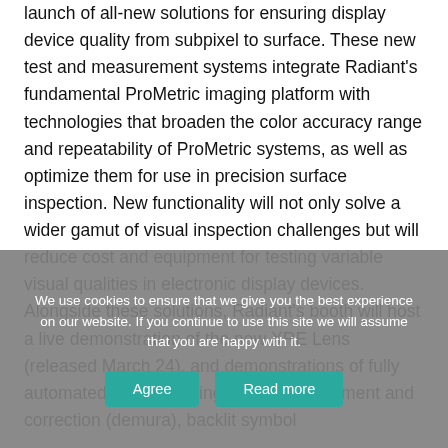launch of all-new solutions for ensuring display device quality from subpixel to surface. These new test and measurement systems integrate Radiant's fundamental ProMetric imaging platform with technologies that broaden the color accuracy range and repeatability of ProMetric systems, as well as optimize them for use in precision surface inspection. New functionality will not only solve a wider gamut of visual inspection challenges but will reduce cost and equipment for testing variable visual qualities in electronic display devices. Alongside these solutions, Radiant's booth will host a live demonstration of the new XRE Lens (released March 24), and demonstrations of fully automated display testing, pixel measurement and correction (demura), backlit symbol
We use cookies to ensure that we give you the best experience on our website. If you continue to use this site we will assume that you are happy with it.